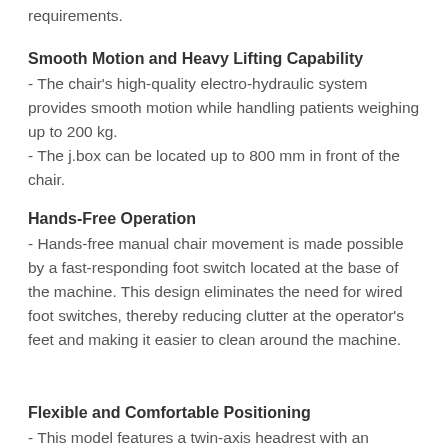requirements.
Smooth Motion and Heavy Lifting Capability
- The chair's high-quality electro-hydraulic system provides smooth motion while handling patients weighing up to 200 kg.
- The j.box can be located up to 800 mm in front of the chair.
Hands-Free Operation
- Hands-free manual chair movement is made possible by a fast-responding foot switch located at the base of the machine. This design eliminates the need for wired foot switches, thereby reducing clutter at the operator's feet and making it easier to clean around the machine.
Flexible and Comfortable Positioning
- This model features a twin-axis headrest with an elongated post to accommodate taller patients. The flexibility of this dual